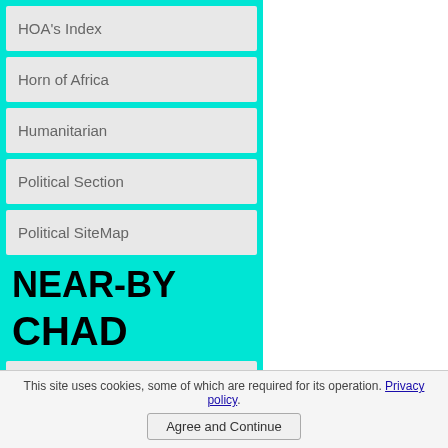HOA's Index
Horn of Africa
Humanitarian
Political Section
Political SiteMap
NEAR-BY
CHAD
Chad
This site uses cookies, some of which are required for its operation. Privacy policy.
Agree and Continue